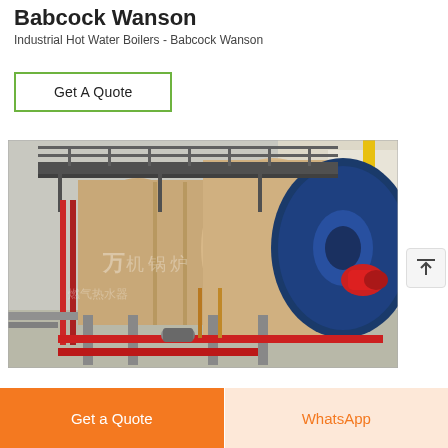Babcock Wanson
Industrial Hot Water Boilers - Babcock Wanson
Get A Quote
[Figure (photo): Industrial hot water boilers in a factory setting. Large cylindrical beige/tan-colored boiler vessels with blue circular end caps, metal walkway platforms above, red and yellow utility pipes, red boiler burner attachment, and various valves and fittings on a concrete floor. Chinese watermark text visible.]
Get a Quote
WhatsApp